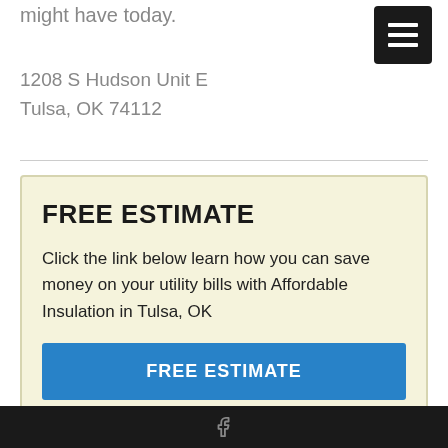might have today.
[Figure (other): Hamburger menu button icon (three horizontal white lines on black background)]
1208 S Hudson Unit E
Tulsa, OK 74112
FREE ESTIMATE
Click the link below learn how you can save money on your utility bills with Affordable Insulation in Tulsa, OK
FREE ESTIMATE
Facebook icon